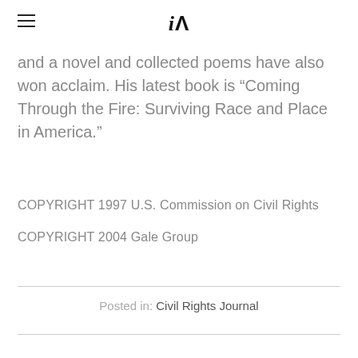iA
and a novel and collected poems have also won acclaim. His latest book is “Coming Through the Fire: Surviving Race and Place in America.”
COPYRIGHT 1997 U.S. Commission on Civil Rights
COPYRIGHT 2004 Gale Group
Posted in: Civil Rights Journal